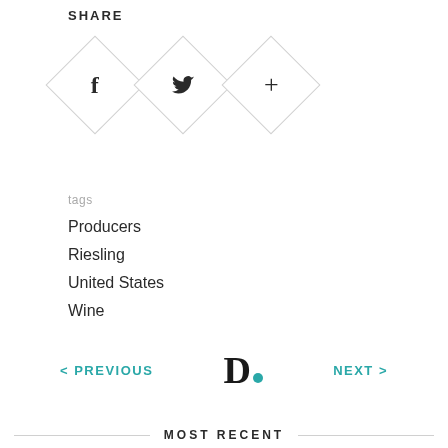SHARE
[Figure (infographic): Three diamond-shaped social sharing buttons: Facebook (f), Twitter (bird), and a plus (+) icon]
tags
Producers
Riesling
United States
Wine
< PREVIOUS
[Figure (logo): Bold D with teal dot logo]
NEXT >
MOST RECENT